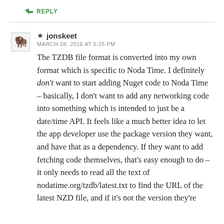↳ REPLY
★ jonskeet
MARCH 28, 2016 AT 5:25 PM
The TZDB file format is converted into my own format which is specific to Noda Time. I definitely don't want to start adding Nuget code to Noda Time – basically, I don't want to add any networking code into something which is intended to just be a date/time API. It feels like a much better idea to let the app developer use the package version they want, and have that as a dependency. If they want to add fetching code themselves, that's easy enough to do – it only needs to read all the text of nodatime.org/tzdb/latest.txt to find the URL of the latest NZD file, and if it's not the version they're